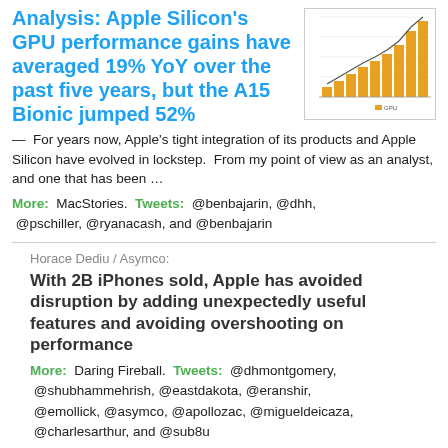Analysis: Apple Silicon's GPU performance gains have averaged 19% YoY over the past five years, but the A15 Bionic jumped 52%
[Figure (bar-chart): Bar chart showing Apple Silicon GPU performance gains over multiple years, with bars increasing in height and an overlaid line, using orange/gold bars on white background.]
— For years now, Apple's tight integration of its products and Apple Silicon have evolved in lockstep. From my point of view as an analyst, and one that has been …
More: MacStories. Tweets: @benbajarin, @dhh, @pschiller, @ryanacash, and @benbajarin
Horace Dediu / Asymco:
With 2B iPhones sold, Apple has avoided disruption by adding unexpectedly useful features and avoiding overshooting on performance
More: Daring Fireball. Tweets: @dhmontgomery, @shubhammehrish, @eastdakota, @eranshir, @emollick, @asymco, @apollozac, @migueldeicaza, @charlesarthur, and @sub8u
Tom Warren / The Verge: